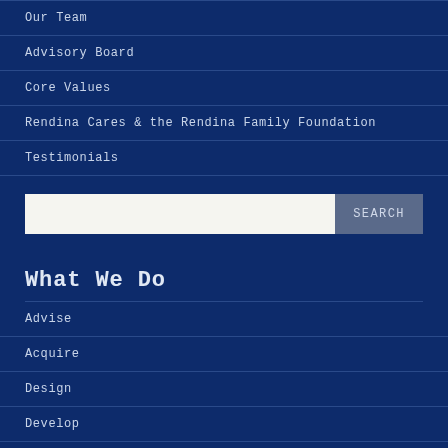Our Team
Advisory Board
Core Values
Rendina Cares & the Rendina Family Foundation
Testimonials
SEARCH
What We Do
Advise
Acquire
Design
Develop
Lease